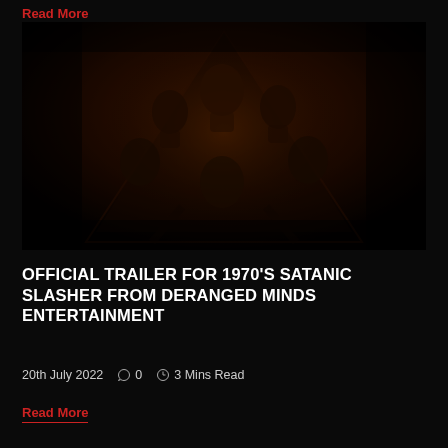Read More
[Figure (photo): Dark horror movie promotional image showing multiple faces in an orange-red tinted triangular composition against a very dark background]
OFFICIAL TRAILER FOR 1970'S SATANIC SLASHER FROM DERANGED MINDS ENTERTAINMENT
20th July 2022  0  3 Mins Read
Read More